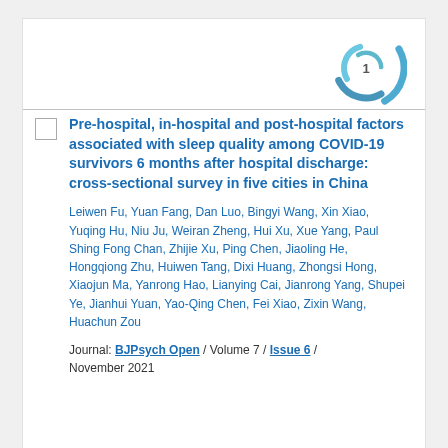[Figure (logo): BJPsych Open journal circular swirl logo in teal/blue with number 1 in center white circle]
Pre-hospital, in-hospital and post-hospital factors associated with sleep quality among COVID-19 survivors 6 months after hospital discharge: cross-sectional survey in five cities in China
Leiwen Fu, Yuan Fang, Dan Luo, Bingyi Wang, Xin Xiao, Yuqing Hu, Niu Ju, Weiran Zheng, Hui Xu, Xue Yang, Paul Shing Fong Chan, Zhijie Xu, Ping Chen, Jiaoling He, Hongqiong Zhu, Huiwen Tang, Dixi Huang, Zhongsi Hong, Xiaojun Ma, Yanrong Hao, Lianying Cai, Jianrong Yang, Shupei Ye, Jianhui Yuan, Yao-Qing Chen, Fei Xiao, Zixin Wang, Huachun Zou
Journal: BJPsych Open / Volume 7 / Issue 6 / November 2021